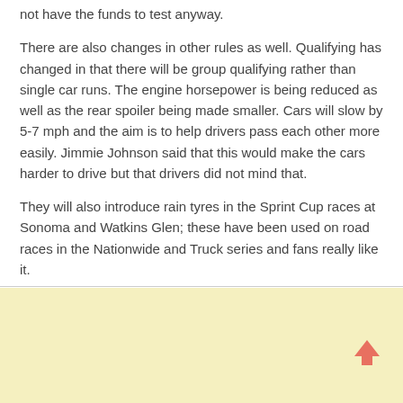not have the funds to test anyway.
There are also changes in other rules as well. Qualifying has changed in that there will be group qualifying rather than single car runs. The engine horsepower is being reduced as well as the rear spoiler being made smaller. Cars will slow by 5-7 mph and the aim is to help drivers pass each other more easily. Jimmie Johnson said that this would make the cars harder to drive but that drivers did not mind that.
They will also introduce rain tyres in the Sprint Cup races at Sonoma and Watkins Glen; these have been used on road races in the Nationwide and Truck series and fans really like it.